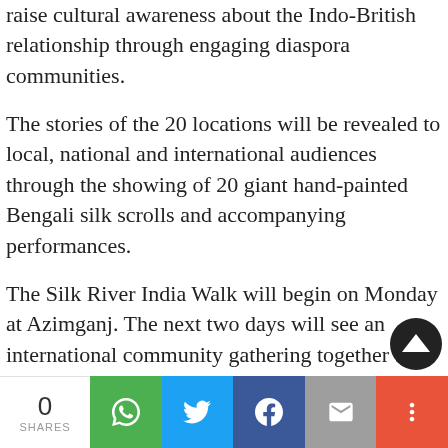raise cultural awareness about the Indo-British relationship through engaging diaspora communities.
The stories of the 20 locations will be revealed to local, national and international audiences through the showing of 20 giant hand-painted Bengali silk scrolls and accompanying performances.
The Silk River India Walk will begin on Monday at Azimganj. The next two days will see an international community gathering together to discover and explore the rich heritage of the region through walks, seminars and cultural programmes, Kinetika's artistic director Ali Pretty told the media on Friday.
0 SHARES | WhatsApp | Twitter | Facebook | Email | More